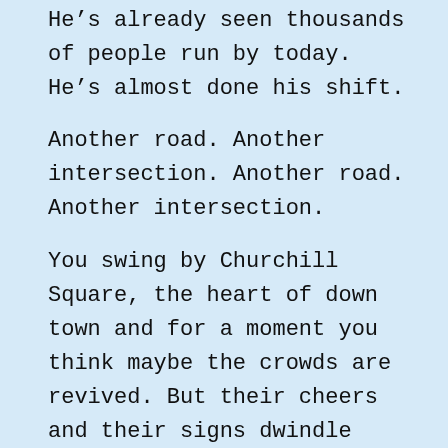He's already seen thousands of people run by today. He's almost done his shift.

Another road. Another intersection. Another road. Another intersection.

You swing by Churchill Square, the heart of down town and for a moment you think maybe the crowds are revived. But their cheers and their signs dwindle behind you as you swing away